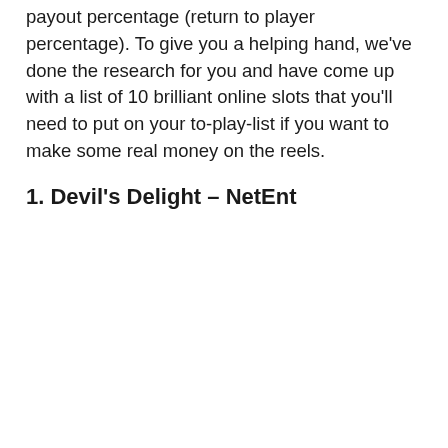payout percentage (return to player percentage). To give you a helping hand, we've done the research for you and have come up with a list of 10 brilliant online slots that you'll need to put on your to-play-list if you want to make some real money on the reels.
1. Devil's Delight – NetEnt